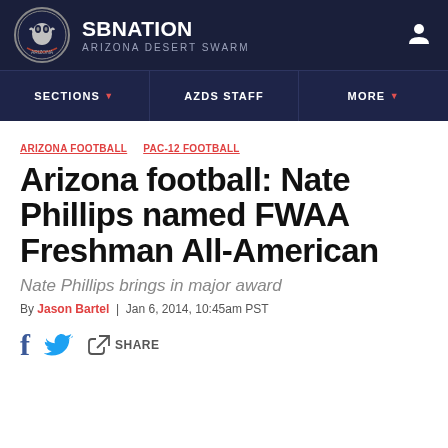SB NATION / ARIZONA DESERT SWARM
SECTIONS / AZDS STAFF / MORE
ARIZONA FOOTBALL  PAC-12 FOOTBALL
Arizona football: Nate Phillips named FWAA Freshman All-American
Nate Phillips brings in major award
By Jason Bartel  |  Jan 6, 2014, 10:45am PST